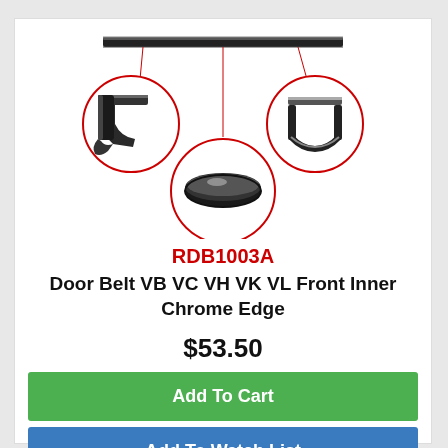[Figure (photo): Product photo of a door belt weatherstrip seal showing three circular close-up magnifications of different cross-section views of the chrome-edged rubber seal, with a full-length strip visible at the top.]
RDB1003A
Door Belt VB VC VH VK VL Front Inner Chrome Edge
$53.50
Add To Cart
Add To Watch List